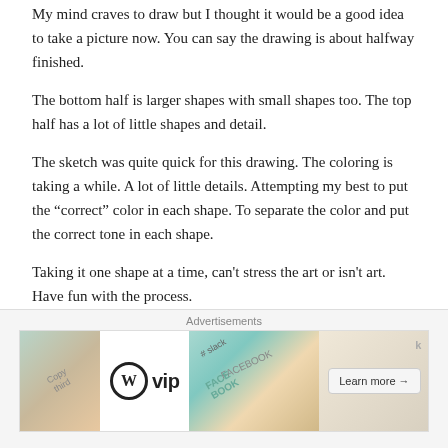My mind craves to draw but I thought it would be a good idea to take a picture now. You can say the drawing is about halfway finished.
The bottom half is larger shapes with small shapes too. The top half has a lot of little shapes and detail.
The sketch was quite quick for this drawing. The coloring is taking a while. A lot of little details. Attempting my best to put the “correct” color in each shape. To separate the color and put the correct tone in each shape.
Taking it one shape at a time, can't stress the art or isn't art. Have fun with the process.
These colors aren't making me bored at all, hahaha. I love this
[Figure (screenshot): Advertisement banner with WordPress VIP logo and 'Learn more' button, with colorful card/book imagery]